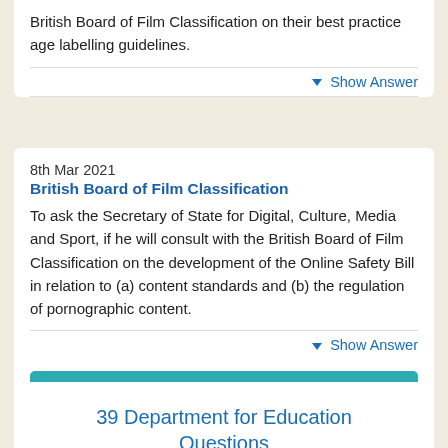British Board of Film Classification on their best practice age labelling guidelines.
▼ Show Answer
8th Mar 2021
British Board of Film Classification
To ask the Secretary of State for Digital, Culture, Media and Sport, if he will consult with the British Board of Film Classification on the development of the Online Safety Bill in relation to (a) content standards and (b) the regulation of pornographic content.
▼ Show Answer
Show Remaining Department for Digital, Culture, Media and Sport Questions
39 Department for Education Questions